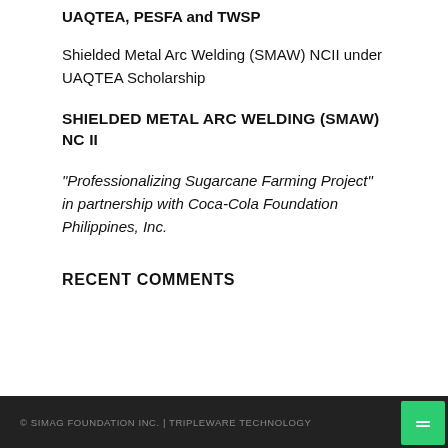UAQTEA, PESFA and TWSP
Shielded Metal Arc Welding (SMAW) NCII under UAQTEA Scholarship
SHIELDED METAL ARC WELDING (SMAW) NC II
“Professionalizing Sugarcane Farming Project” in partnership with Coca-Cola Foundation Philippines, Inc.
RECENT COMMENTS
© SIMAG FOUNDATION INC. | TRIPLEWARE TECHNOLOGY